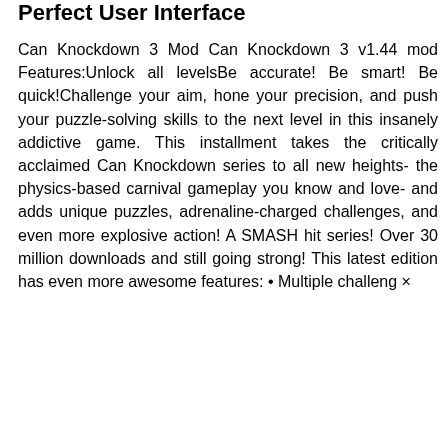Perfect User Interface
Can Knockdown 3 Mod Can Knockdown 3 v1.44 mod Features:Unlock all levelsBe accurate! Be smart! Be quick!Challenge your aim, hone your precision, and push your puzzle-solving skills to the next level in this insanely addictive game. This installment takes the critically acclaimed Can Knockdown series to all new heights- the physics-based carnival gameplay you know and love- and adds unique puzzles, adrenaline-charged challenges, and even more explosive action! A SMASH hit series! Over 30 million downloads and still going strong! This latest edition has even more awesome features: • Multiple challeng ×